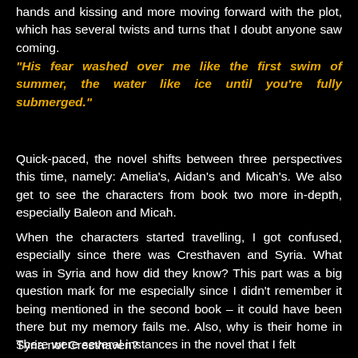hands and kissing and more moving forward with the plot, which has several twists and turns that I doubt anyone saw coming.
"His fear washed over me like the first swim of summer, the water like ice until you're fully submerged."
Quick-paced, the novel shifts between three perspectives this time, namely: Amelia's, Aidan's and Micah's. We also get to see the characters from book two more in-depth, especially Baleon and Micah.
When the characters started travelling, I got confused, especially since there was Cresthaven and Syria. What was in Syria and how did they know? This part was a big question mark for me especially since I didn't remember it being mentioned in the second book – it could have been there but my memory fails me. Also, why is their home in Syria not Cresthaven?
There were several instances in the novel that I felt